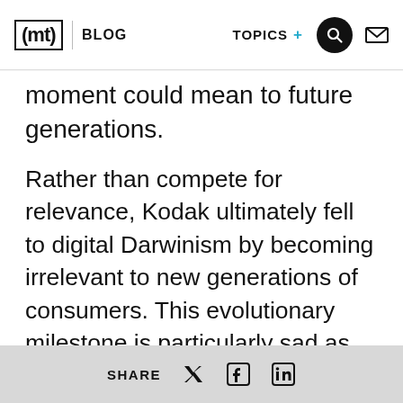(mt) BLOG  TOPICS +
moment could mean to future generations.
Rather than compete for relevance, Kodak ultimately fell to digital Darwinism by becoming irrelevant to new generations of consumers. This evolutionary milestone is particularly sad as Kodak was home to some of the most forward-thinking scientists around digital imaging who helped the company secure industry-leading patents. Competing for the future wasn't part of the company's everyday culture unfortunately. Innovation wasn't woven into the DNA of Kodak's culture. The executive
SHARE